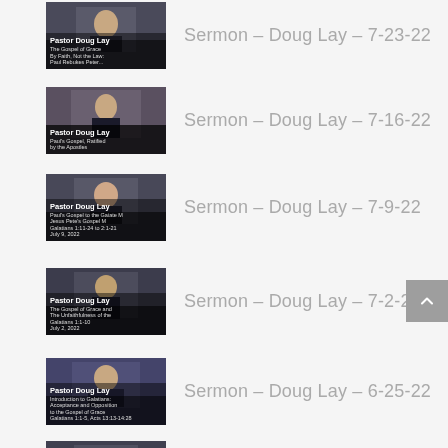[Figure (screenshot): Thumbnail for sermon by Pastor Doug Lay – The Gospel of Grace By Faith, Not the Law: Paul Rebukes Peter]
Sermon – Doug Lay – 7-23-22
[Figure (screenshot): Thumbnail for sermon by Pastor Doug Lay – Paul's Gospel, Ratified by the Apostles]
Sermon – Doug Lay – 7-16-22
[Figure (screenshot): Thumbnail for sermon by Pastor Doug Lay – Paul's Gospel to the Galatians / Jesus Pete's Gospel Galatians 1:11-24 to 2:1-21 July 9, 2022]
Sermon – Doug Lay – 7-9-22
[Figure (screenshot): Thumbnail for sermon by Pastor Doug Lay – The Gospel of Grace and The Unfaithfulness of the Galatians Galatians 1:1-10 July 2, 2022]
Sermon – Doug Lay – 7-2-22
[Figure (screenshot): Thumbnail for sermon by Pastor Doug Lay – Introduction to Galatians: Acceptance and Opposition to the Gospel of Grace Galatians 1:1-5, Acts 13:13-14:28]
Sermon – Doug Lay – 6-25-22
[Figure (screenshot): Thumbnail for sermon by Pastor Doug Lay (partially visible)]
Sermon – Doug Lay – 6-18-22